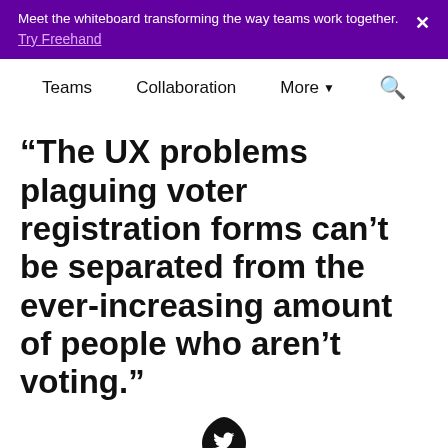Meet the whiteboard transforming the way teams work together. Try Freehand
Teams  Collaboration  More  Search
“The UX problems plaguing voter registration forms can’t be separated from the ever-increasing amount of people who aren’t voting.”
[Figure (logo): Twitter bird logo inside a dark teardrop/droplet shaped icon]